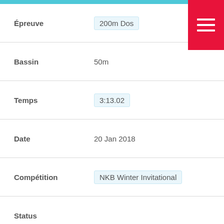Épreuve: 200m Dos
Bassin: 50m
Temps: 3:13.02
Date: 20 Jan 2018
Compétition: NKB Winter Invitational
Status:
Épreuve: 50m Dos
Bassin: 25m